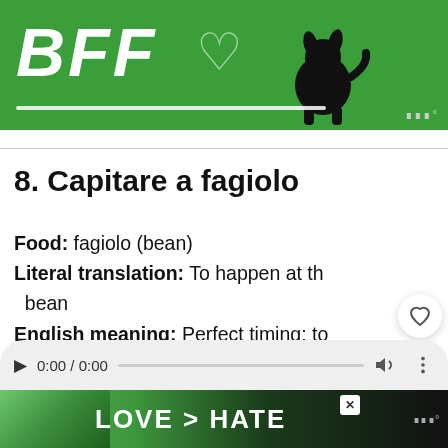[Figure (photo): Green BFF banner advertisement at top of page with white BFF text in bold italic, heart outline, dog silhouette]
8. Capitare a fagiolo
Food: fagiolo (bean)
Literal translation: To happen at the bean
English meaning: Perfect timing; to come at the right time
[Figure (screenshot): Audio player bar showing 0:00 / 0:00 with play button, progress bar, volume and more icons]
[Figure (photo): Bottom advertisement banner showing LOVE > HATE with heart hands image on green/dark background]